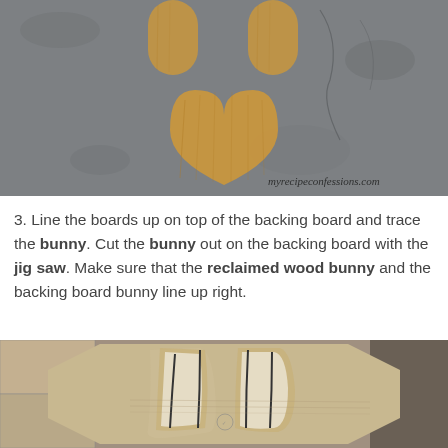[Figure (photo): Photo of wooden bunny-shaped cut pieces (reclaimed wood) laid out on a grey concrete surface. A watermark reads 'myrecipeconfessions.com' in the lower right corner.]
3. Line the boards up on top of the backing board and trace the bunny. Cut the bunny out on the backing board with the jig saw. Make sure that the reclaimed wood bunny and the backing board bunny line up right.
[Figure (photo): Photo of a cardboard bunny-shaped template placed on top of wooden planks, showing the cut-out ear shapes with wood grain visible underneath.]